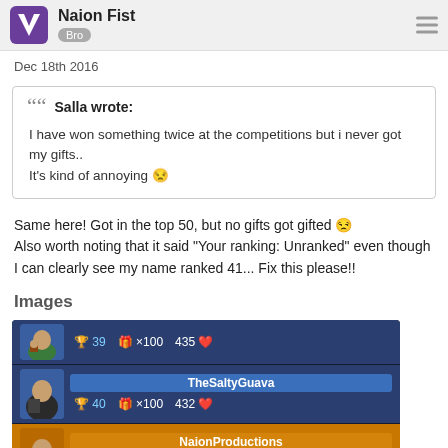Naion Fist Bro
Dec 18th 2016
Salla wrote:
I have won something twice at the competitions but i never got my gifts.. It's kind of annoying 😐
Same here! Got in the top 50, but no gifts got gifted 😐 Also worth noting that it said "Your ranking: Unranked" even though I can clearly see my name ranked 41... Fix this please!!
Images
[Figure (screenshot): Game leaderboard screenshot showing player rankings. Row 1 (partial): trophy 39, gift x100, 435 hearts. Row 2: TheSaltyGuava, trophy 40, gift x100, 432 hearts. Row 3: NaionProductions (highlighted gold), trophy 41, gift x100, 427 hearts.]